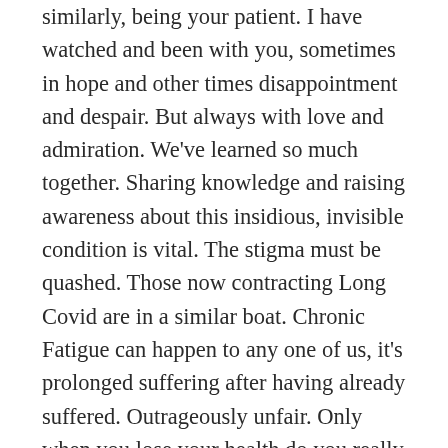similarly, being your patient. I have watched and been with you, sometimes in hope and other times disappointment and despair. But always with love and admiration. We've learned so much together. Sharing knowledge and raising awareness about this insidious, invisible condition is vital. The stigma must be quashed. Those now contracting Long Covid are in a similar boat. Chronic Fatigue can happen to any one of us, it's prolonged suffering after having already suffered. Outrageously unfair. Only when you lose your health do you really appreciate how precious it is and who would have thought so hard to find it again. It breaks my heart when I know of good doctors trying to treat you, but at a loss to know what to